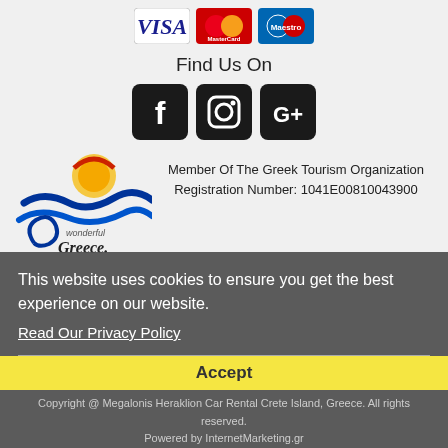[Figure (logo): Payment method icons: VISA, MasterCard, Maestro]
Find Us On
[Figure (logo): Social media icons: Facebook, Instagram, Google+]
[Figure (logo): Wonderful Greece logo with wave and sun illustration]
Member Of The Greek Tourism Organization Registration Number: 1041E00810043900
This website uses cookies to ensure you get the best experience on our website.
Read Our Privacy Policy
Accept
Copyright @ Megalonis Heraklion Car Rental Crete Island, Greece. All rights reserved.
Powered by InternetMarketing.gr